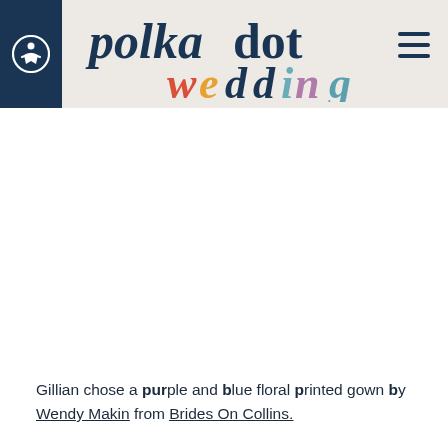Polka Dot Wedding — website header with logo and navigation
[Figure (logo): Polka Dot Wedding logo: 'polkadot' in dark navy serif italic font, 'wedding' in mixed colors (red, orange, navy, teal, purple, teal) italic serif font]
Gillian chose a purple and blue floral printed gown by Wendy Makin from Brides On Collins.